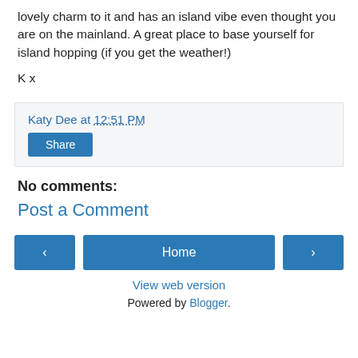lovely charm to it and has an island vibe even thought you are on the mainland. A great place to base yourself for island hopping (if you get the weather!)
K x
Katy Dee at 12:51 PM
Share
No comments:
Post a Comment
‹  Home  ›
View web version
Powered by Blogger.